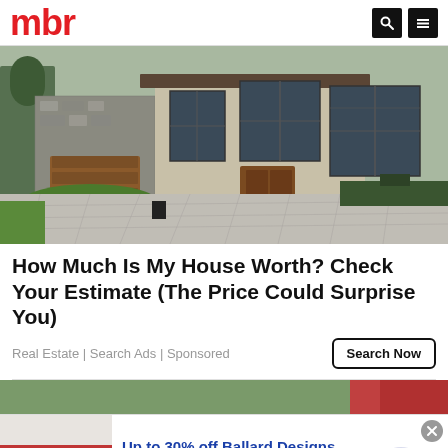mbr
[Figure (photo): Exterior of a modern luxury house with stone facade, wooden garage door, large windows, and a paved driveway with green lawn]
How Much Is My House Worth? Check Your Estimate (The Price Could Surprise You)
Real Estate | Search Ads | Sponsored
[Figure (photo): Partial view of another article image at the bottom of the page]
[Figure (advertisement): Ad banner: Up to 30% off Ballard Designs. Furniture stores and home decor. It's Ballard! ballarddesigns.com]